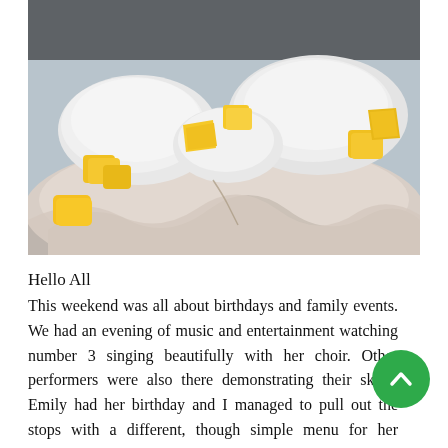[Figure (photo): Close-up photo of a pavlova or meringue dessert topped with whipped cream and yellow mango/pineapple chunks, on a white surface.]
Hello All
This weekend was all about birthdays and family events. We had an evening of music and entertainment watching number 3 singing beautifully with her choir. Other performers were also there demonstrating their skills. Emily had her birthday and I managed to pull out the stops with a different, though simple menu for her birthday dinner, baked salmon steaks, french beans and new potatoes with